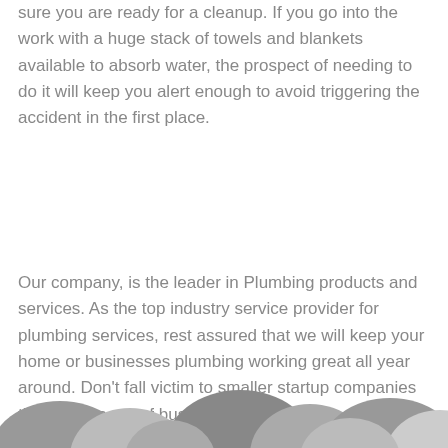sure you are ready for a cleanup. If you go into the work with a huge stack of towels and blankets available to absorb water, the prospect of needing to do it will keep you alert enough to avoid triggering the accident in the first place.
Our company, is the leader in Plumbing products and services. As the top industry service provider for plumbing services, rest assured that we will keep your home or businesses plumbing working great all year around. Don't fall victim to smaller startup companies that may go out of business in a few years, put your trust in a company with over 25+ years in the industry. We service the greater Anderson South Carolina area.
[Figure (illustration): Decorative wave/hill shapes in grayscale at the bottom of the page]